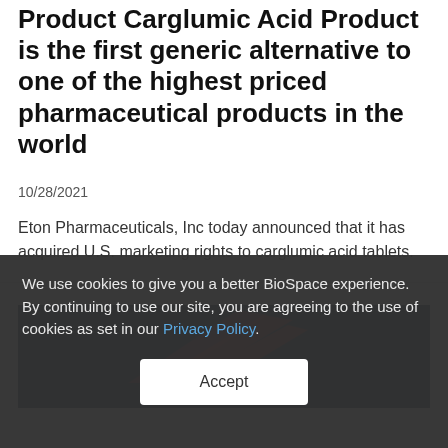Product Carglumic Acid Product is the first generic alternative to one of the highest priced pharmaceutical products in the world
10/28/2021
Eton Pharmaceuticals, Inc today announced that it has acquired U.S. marketing rights to carglumic acid tablets.
[Figure (other): Dark navy blue banner image with red diagonal swoosh lines — Eton Pharmaceuticals branding image]
We use cookies to give you a better BioSpace experience. By continuing to use our site, you are agreeing to the use of cookies as set in our Privacy Policy.